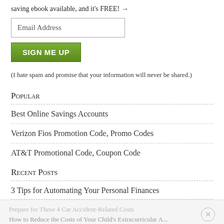saving ebook available, and it's FREE! →
Email Address
SIGN ME UP
(I hate spam and promise that your information will never be shared.)
Popular
Best Online Savings Accounts
Verizon Fios Promotion Code, Promo Codes
AT&T Promotional Code, Coupon Code
Recent Posts
3 Tips for Automating Your Personal Finances
Prepare for These 4 Car Accident-Related Costs
How to Reduce the Costs of Your Child's Extracurricular Activities